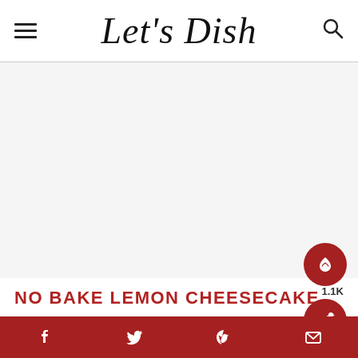Let's Dish
[Figure (photo): Large food photo area, currently blank/light gray (image not loaded)]
NO BAKE LEMON CHEESECAKE